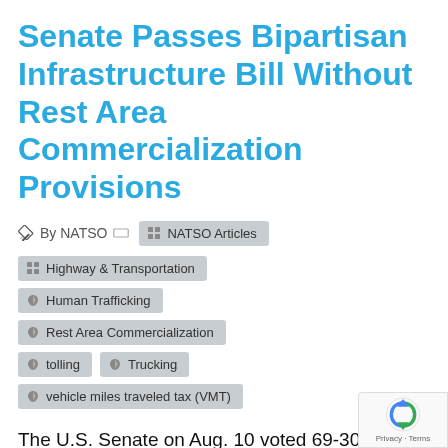Senate Passes Bipartisan Infrastructure Bill Without Rest Area Commercialization Provisions
By NATSO  |  NATSO Articles
Highway & Transportation
Human Trafficking
Rest Area Commercialization
tolling
Trucking
vehicle miles traveled tax (VMT)
The U.S. Senate on Aug. 10 voted 69-30 to pass a historic, $1.2 trillion infrastructure bill that did not